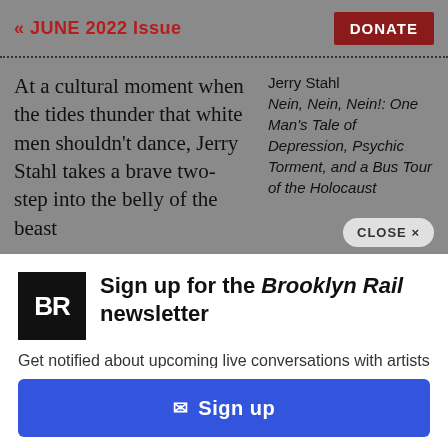« JUNE 2022 Issue  DONATE
At a cultural moment when the tides thunder that white men shouldn't dance, Jerry Stahl takes a brave two-step into the belly of the beast
Jerry Stahl
Nein, Nein, Nein!: One Man's Tale of Depression, Psychic Torment, and a Bus Tour of the Holocaust
CLOSE ×
Sign up for the Brooklyn Rail newsletter
Get notified about upcoming live conversations with artists and when the next issue of the Rail drops.
✉ Sign up